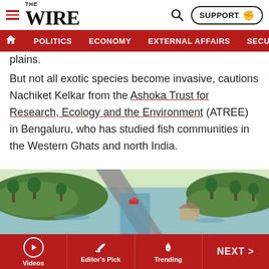THE WIRE — POLITICS | ECONOMY | EXTERNAL AFFAIRS | SECU...
plains.
But not all exotic species become invasive, cautions Nachiket Kelkar from the Ashoka Trust for Research, Ecology and the Environment (ATREE) in Bengaluru, who has studied fish communities in the Western Ghats and north India.
[Figure (photo): Aerial view of a flooded landscape with green vegetation, trees, a road, and water-logged fields. A partially submerged building is visible.]
Videos | Editor's Pick | Trending | NEXT >